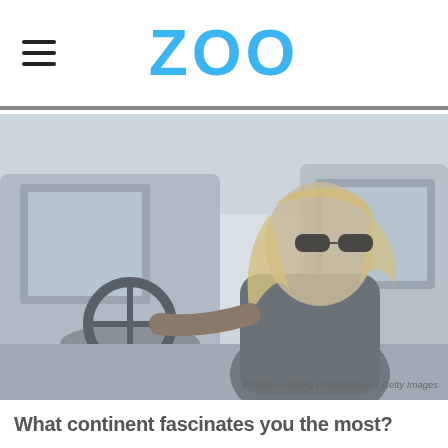ZOO
[Figure (photo): Woman with sunglasses sitting in driver seat of a vintage vehicle, wind blowing through her hair, grayscale image. Photo credit: Kristina Lindberg / DigitalVision / Getty Images]
Kristina Lindberg / DigitalVision / Getty Images
What continent fascinates you the most?